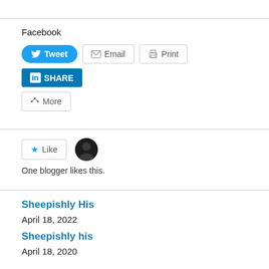Facebook
[Figure (screenshot): Social sharing buttons: Tweet (blue), Email (outline), Print (outline), SHARE LinkedIn (blue), More (outline)]
[Figure (screenshot): Like button with star icon and a blogger avatar circle; text: One blogger likes this.]
One blogger likes this.
Sheepishly His
April 18, 2022
Sheepishly his
April 18, 2020